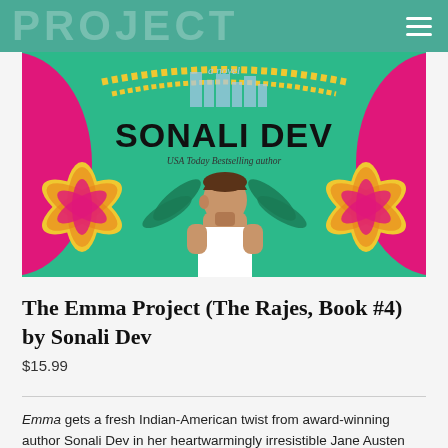PROJECT
[Figure (illustration): Book cover for 'The Emma Project' by Sonali Dev. Colorful illustrated cover with green background, pink and yellow tropical flowers, a man in a white tank top, city skyline silhouette, and text: 'a novel', 'SONALI DEV', 'USA Today Bestselling author'.]
The Emma Project (The Rajes, Book #4) by Sonali Dev
$15.99
Emma gets a fresh Indian-American twist from award-winning author Sonali Dev in her heartwarmingly irresistible Jane Austen